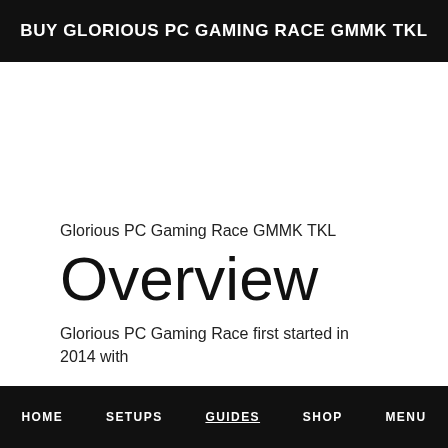BUY GLORIOUS PC GAMING RACE GMMK TKL
Glorious PC Gaming Race GMMK TKL
Overview
Glorious PC Gaming Race first started in 2014 with
HOME   SETUPS   GUIDES   SHOP   MENU